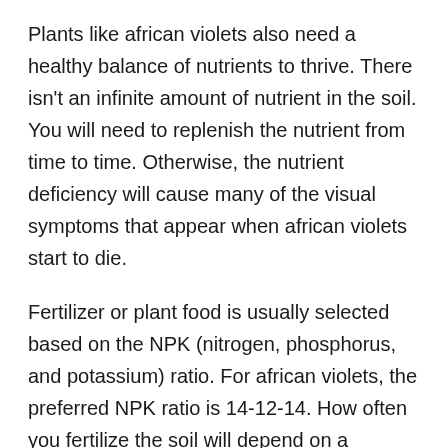Plants like african violets also need a healthy balance of nutrients to thrive. There isn't an infinite amount of nutrient in the soil. You will need to replenish the nutrient from time to time. Otherwise, the nutrient deficiency will cause many of the visual symptoms that appear when african violets start to die.
Fertilizer or plant food is usually selected based on the NPK (nitrogen, phosphorus, and potassium) ratio. For african violets, the preferred NPK ratio is 14-12-14. How often you fertilize the soil will depend on a number of factors such as the soil medium and the maturity of the plant. It's important to note that over-fertilizing can also be a bad thing and may indirectly contribute to a plant's death. You could use a soil testing kit if you want to learn more